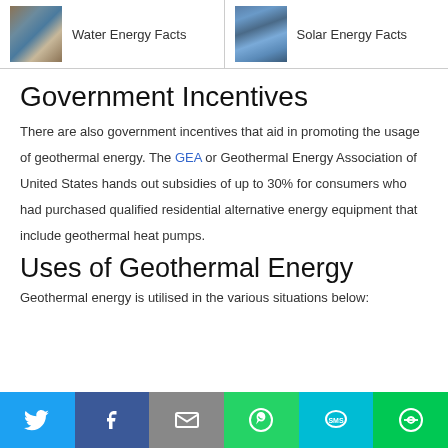Water Energy Facts | Solar Energy Facts
Government Incentives
There are also government incentives that aid in promoting the usage of geothermal energy. The GEA or Geothermal Energy Association of United States hands out subsidies of up to 30% for consumers who had purchased qualified residential alternative energy equipment that include geothermal heat pumps.
Uses of Geothermal Energy
Geothermal energy is utilised in the various situations below:
Social sharing bar: Twitter, Facebook, Email, WhatsApp, SMS, More